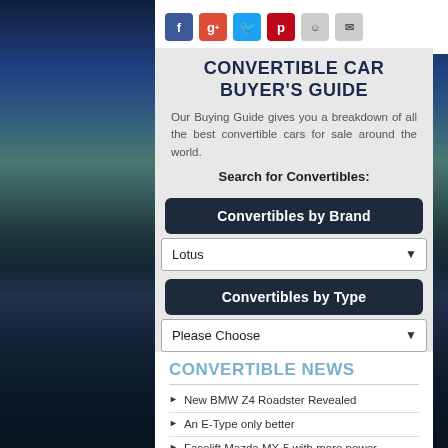Social sharing icons: Facebook, Google+, Twitter, Pinterest, Reddit, Email
CONVERTIBLE CAR BUYER'S GUIDE
Our Buying Guide gives you a breakdown of all the best convertible cars for sale around the world.
Search for Convertibles:
Convertibles by Brand
Lotus
Convertibles by Type
Please Choose
CONVERTIBLE NEWS
New BMW Z4 Roadster Revealed
An E-Type only better
Facelift Mazda MX-5 with more power
25 years of the Mini Convertible